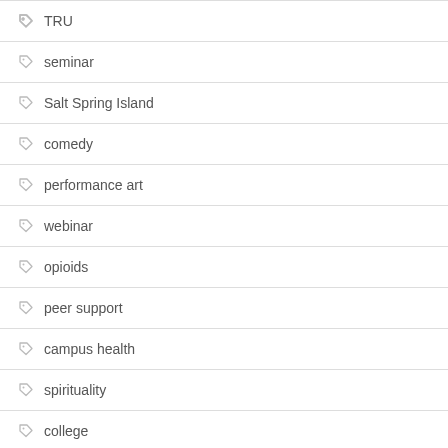TRU
seminar
Salt Spring Island
comedy
performance art
webinar
opioids
peer support
campus health
spirituality
college
socio-ecological model
organizational culture
direct care